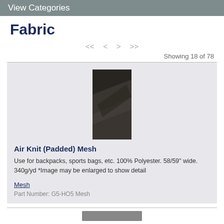View Categories
Fabric
<< < > >>
Showing 18 of 78
[Figure (photo): Close-up photo of dark gray/charcoal Air Knit Padded Mesh fabric showing texture and diagonal fold]
Air Knit (Padded) Mesh
Use for backpacks, sports bags, etc. 100% Polyester. 58/59" wide. 340g/yd *Image may be enlarged to show detail
Mesh
Part Number: G5-HO5 Mesh